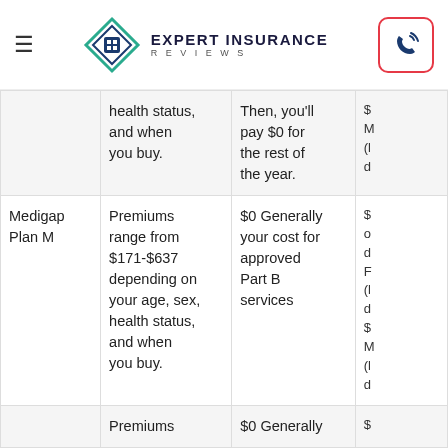Expert Insurance Reviews
| Plan | Premiums | Deductible/Cost | Other |
| --- | --- | --- | --- |
|  | health status, and when you buy. | Then, you'll pay $0 for the rest of the year. | $
M
(l
d |
| Medigap Plan M | Premiums range from $171-$637 depending on your age, sex, health status, and when you buy. | $0 Generally your cost for approved Part B services | $
o
d
F
(l
d
$
M
(l
d |
|  | Premiums | $0 Generally | $ |